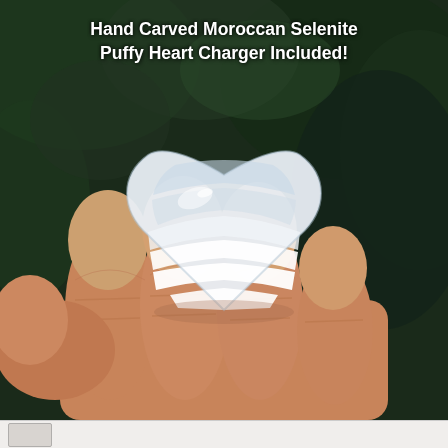[Figure (photo): A hand holding a white/translucent heart-shaped polished selenite crystal (puffy heart) between fingers, against a dark green blurred background.]
Hand Carved Moroccan Selenite Puffy Heart Charger Included!